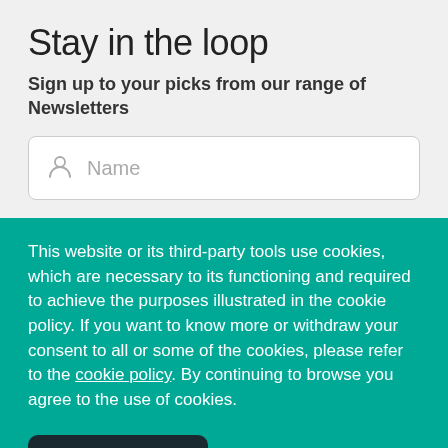Stay in the loop
Sign up to your picks from our range of Newsletters
This website or its third-party tools use cookies, which are necessary to its functioning and required to achieve the purposes illustrated in the cookie policy. If you want to know more or withdraw your consent to all or some of the cookies, please refer to the cookie policy. By continuing to browse you agree to the use of cookies.
I understand